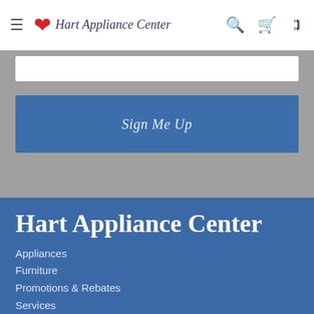Hart Appliance Center
[Figure (screenshot): White input bar (email or text field) on gray background]
[Figure (screenshot): Blue 'Sign Me Up' button]
Hart Appliance Center
Appliances
Furniture
Promotions & Rebates
Services